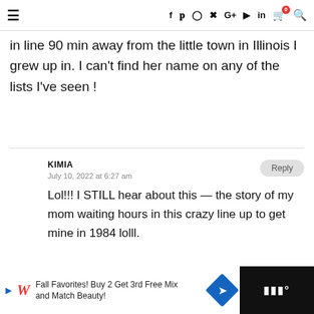≡  f  twitter  instagram  pinterest  G+  youtube  in  [cart 0]  search
in line 90 min away from the little town in Illinois I grew up in. I can't find her name on any of the lists I've seen !
KIMIA
July 10, 2022 at 6:27 am
Lol!!! I STILL hear about this — the story of my mom waiting hours in this crazy line up to get mine in 1984 lolll.
[Figure (infographic): Walgreens advertisement banner: Fall Favorites! Buy 2 Get 3rd Free Mix and Match Beauty!]